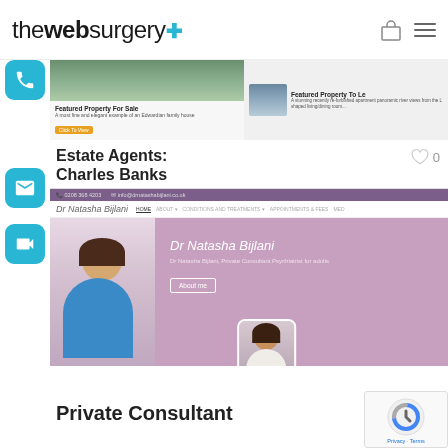thewebsurgery+
[Figure (screenshot): Estate Agents: Charles Banks website screenshot showing property listings]
Estate Agents:
Charles Banks
[Figure (screenshot): Dr Natasha Bijlani private consultant psychiatrist website screenshot]
Private Consultant